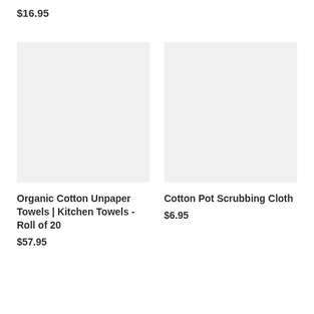$16.95
[Figure (photo): Product image placeholder for Organic Cotton Unpaper Towels, light gray background]
Organic Cotton Unpaper Towels | Kitchen Towels - Roll of 20
$57.95
[Figure (photo): Product image placeholder for Cotton Pot Scrubbing Cloth, light gray background]
Cotton Pot Scrubbing Cloth
$6.95